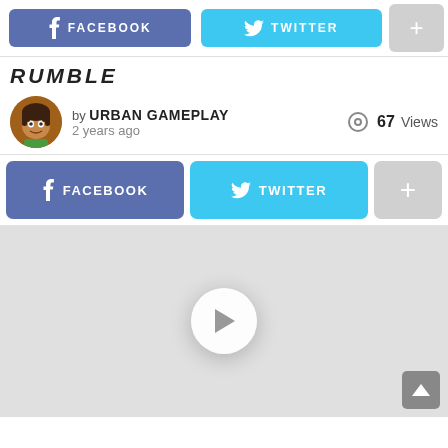[Figure (screenshot): Top navigation bar with Facebook, Twitter, and plus share buttons (cropped at top)]
RUMBLE
by URBAN GAMEPLAY
2 years ago
67 Views
[Figure (screenshot): Share buttons row: Facebook, Twitter, and plus button]
[Figure (screenshot): Video player area with play button in center, light gray background]